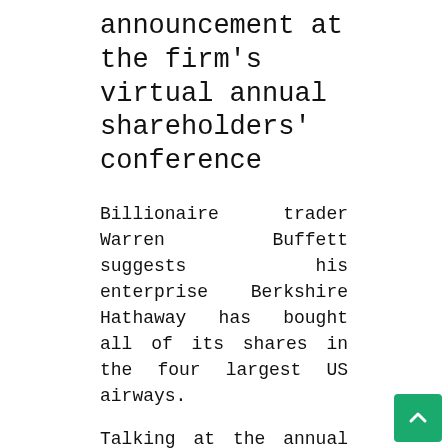announcement at the firm's virtual annual shareholders' conference
Billionaire trader Warren Buffett suggests his enterprise Berkshire Hathaway has bought all of its shares in the four largest US airways.
Talking at the annual shareholders' conference, Mr Buffett reported “the globe has altered” simply because of the coronavirus.
He then explained he experienced been incorrect to invest in the airline sector.
Mr Buffett’s responses came just hours just after Berkshire Hathaway declared a file